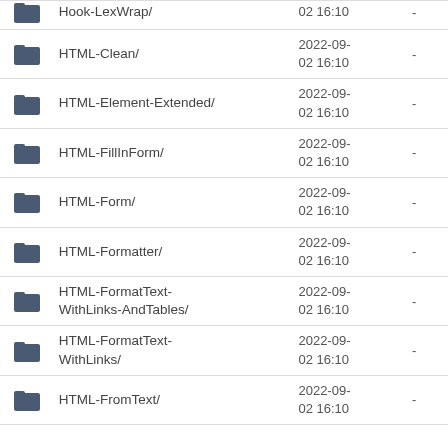|  | Name | Date | Size |
| --- | --- | --- | --- |
| [folder] | Hook-LexWrap/ | 02 16:10 | - |
| [folder] | HTML-Clean/ | 2022-09-02 16:10 | - |
| [folder] | HTML-Element-Extended/ | 2022-09-02 16:10 | - |
| [folder] | HTML-FillInForm/ | 2022-09-02 16:10 | - |
| [folder] | HTML-Form/ | 2022-09-02 16:10 | - |
| [folder] | HTML-Formatter/ | 2022-09-02 16:10 | - |
| [folder] | HTML-FormatText-WithLinks-AndTables/ | 2022-09-02 16:10 | - |
| [folder] | HTML-FormatText-WithLinks/ | 2022-09-02 16:10 | - |
| [folder] | HTML-FromText/ | 2022-09-02 16:10 | - |